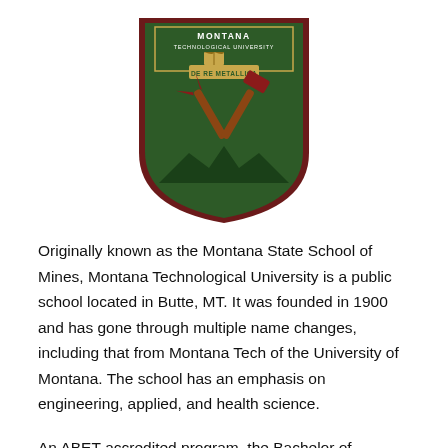[Figure (logo): Montana Technological University shield logo with crossed pick and hammer, green and dark red colors, text 'MONTANA TECHNOLOGICAL UNIVERSITY' and 'DE RE METALLICA']
Originally known as the Montana State School of Mines, Montana Technological University is a public school located in Butte, MT. It was founded in 1900 and has gone through multiple name changes, including that from Montana Tech of the University of Montana. The school has an emphasis on engineering, applied, and health science.
An ABET-accredited program, the Bachelor of Science in software engineering will prepare you to work with